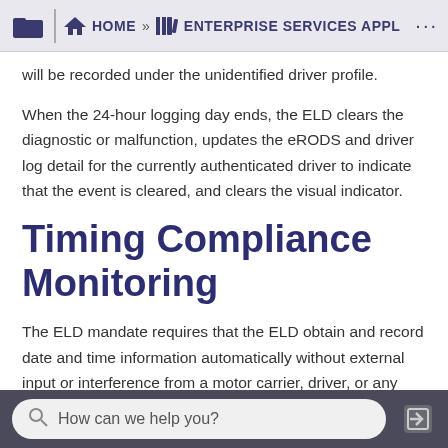HOME » ENTERPRISE SERVICES APPL
will be recorded under the unidentified driver profile.
When the 24-hour logging day ends, the ELD clears the diagnostic or malfunction, updates the eRODS and driver log detail for the currently authenticated driver to indicate that the event is cleared, and clears the visual indicator.
Timing Compliance Monitoring
The ELD mandate requires that the ELD obtain and record date and time information automatically without external input or interference from a motor carrier, driver, or any other person. This test is currently performed when the MCP boots and drift typically
How can we help you?